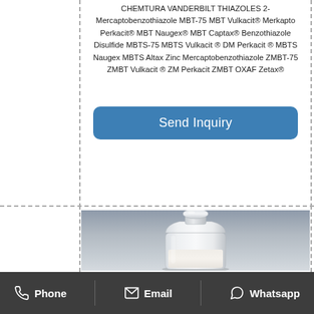CHEMTURA VANDERBILT THIAZOLES 2-Mercaptobenzothiazole MBT-75 MBT Vulkacit® Merkapto Perkacit® MBT Naugex® MBT Captax® Benzothiazole Disulfide MBTS-75 MBTS Vulkacit ® DM Perkacit ® MBTS Naugex MBTS Altax Zinc Mercaptobenzothiazole ZMBT-75 ZMBT Vulkacit ® ZM Perkacit ZMBT OXAF Zetax®
[Figure (other): Button labeled 'Send Inquiry' with blue rounded rectangle background]
[Figure (photo): A glass bottle containing white powder, photographed on a grey background]
Phone  Email  Whatsapp